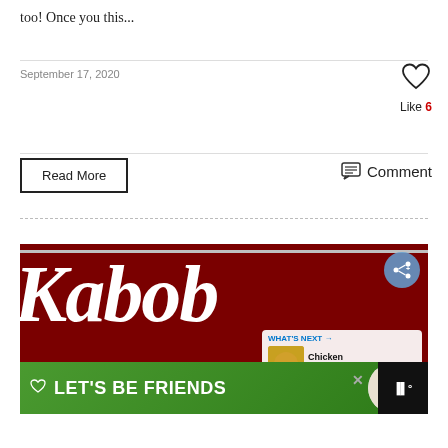too!  Once you this...
September 17, 2020
Like 6
Read More
Comment
[Figure (screenshot): Blog post screenshot showing a Kabob restaurant logo on dark red background with white bold italic text 'Kabob', a share button overlay, a 'WHAT'S NEXT' panel showing Chicken Cabbage Sti... preview, and an advertisement banner at the bottom reading LET'S BE FRIENDS with a husky dog image.]